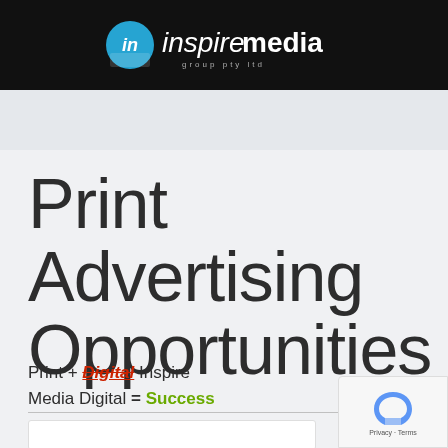[Figure (logo): Inspire Media Group Pty Ltd logo — white 'inspire' italic + bold 'media' text with circular blue icon on black background bar]
Print Advertising Opportunities
Print + Digital Inspire Media Digital = Success
[Figure (other): Partially visible bottom content card with decorative imagery]